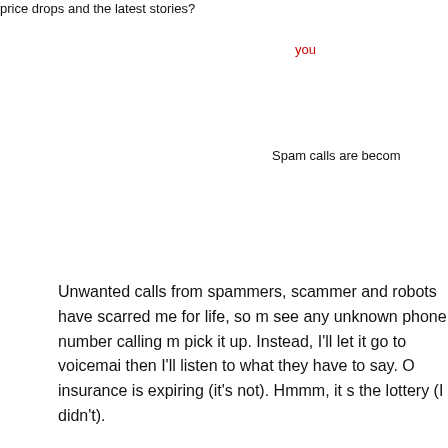price drops and the latest stories?
you
Spam calls are becom
Unwanted calls from spammers, scammers and robots have scarred me for life, so m see any unknown phone number calling m pick it up. Instead, I'll let it go to voicemai then I'll listen to what they have to say. O insurance is expiring (it's not). Hmmm, it s the lottery (I didn't).
This year alone, Americans are expected billion robocalls, which breaks down to ap billion calls every week, according to YouM that specializes in blocking them.